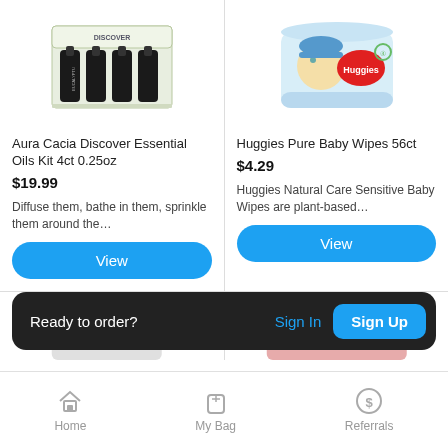[Figure (photo): Aura Cacia Discover Essential Oils Kit product image showing multiple small dark bottles]
Aura Cacia Discover Essential Oils Kit 4ct 0.25oz
$19.99
Diffuse them, bathe in them, sprinkle them around the…
View
[Figure (photo): Huggies Pure Baby Wipes 56ct package showing a baby with blue hat]
Huggies Pure Baby Wipes 56ct
$4.29
Huggies Natural Care Sensitive Baby Wipes are plant-based…
View
Ready to order?
Sign In
Sign Up
Home
My Bag
Referrals